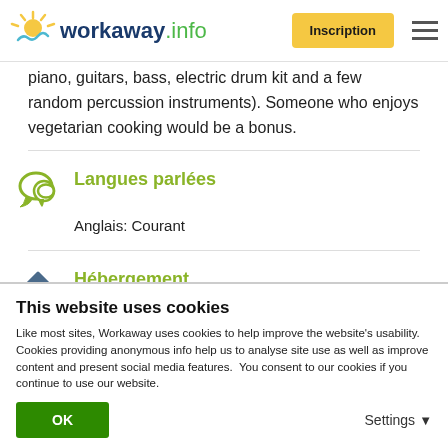workaway.info — Inscription
piano, guitars, bass, electric drum kit and a few random percussion instruments). Someone who enjoys vegetarian cooking would be a bonus.
Langues parlées
Anglais: Courant
Hébergement
This website uses cookies
Like most sites, Workaway uses cookies to help improve the website's usability. Cookies providing anonymous info help us to analyse site use as well as improve content and present social media features.  You consent to our cookies if you continue to use our website.